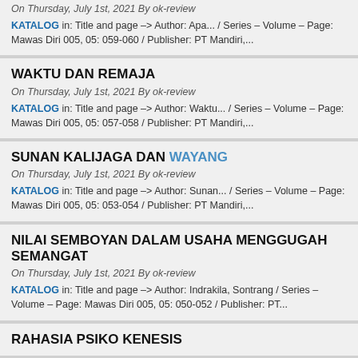On Thursday, July 1st, 2021 By ok-review
KATALOG in: Title and page –> Author: Apa... / Series – Volume – Page: Mawas Diri 005, 05: 059-060 / Publisher: PT Mandiri,...
WAKTU DAN REMAJA
On Thursday, July 1st, 2021 By ok-review
KATALOG in: Title and page –> Author: Waktu... / Series – Volume – Page: Mawas Diri 005, 05: 057-058 / Publisher: PT Mandiri,...
SUNAN KALIJAGA DAN WAYANG
On Thursday, July 1st, 2021 By ok-review
KATALOG in: Title and page –> Author: Sunan... / Series – Volume – Page: Mawas Diri 005, 05: 053-054 / Publisher: PT Mandiri,...
NILAI SEMBOYAN DALAM USAHA MENGGUGAH SEMANGAT
On Thursday, July 1st, 2021 By ok-review
KATALOG in: Title and page –> Author: Indrakila, Sontrang / Series – Volume – Page: Mawas Diri 005, 05: 050-052 / Publisher: PT...
RAHASIA PSIKO KENESIS